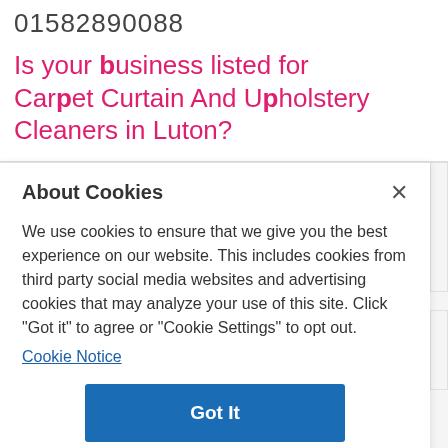01582890088
Is your business listed for Carpet Curtain And Upholstery Cleaners in Luton?
About Cookies
We use cookies to ensure that we give you the best experience on our website. This includes cookies from third party social media websites and advertising cookies that may analyze your use of this site. Click "Got it" to agree or "Cookie Settings" to opt out.
Cookie Notice
Got It
Cookies Settings